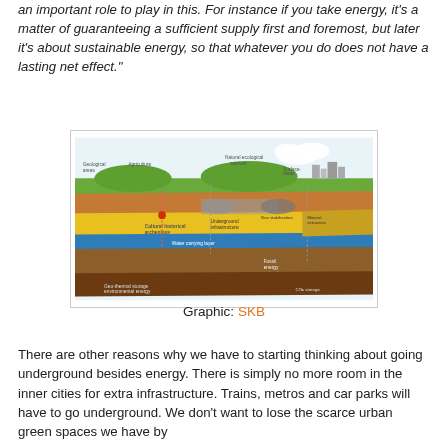an important role to play in this. For instance if you take energy, it's a matter of guaranteeing a sufficient supply first and foremost, but later it's about sustainable energy, so that whatever you do does not have a lasting net effect."
[Figure (infographic): SKB diagram showing underground geological layers including ecological networks, surface water, underground infrastructure, water carrying layer, water collection, fossil energy extraction, CO2 storage, and mineral extraction layers.]
Graphic: SKB
There are other reasons why we have to starting thinking about going underground besides energy. There is simply no more room in the inner cities for extra infrastructure. Trains, metros and car parks will have to go underground. We don't want to lose the scarce urban green spaces we have by